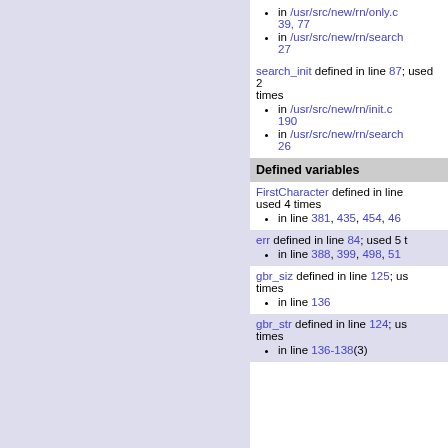in /usr/src/new/rn/only.c 39, 77
in /usr/src/new/rn/search 27
search_init defined in line 87; used 2 times
in /usr/src/new/rn/init.c 190
in /usr/src/new/rn/search 26
Defined variables
FirstCharacter defined in line; used 4 times
in line 381, 435, 454, 46
err defined in line 84; used 5 times
in line 388, 399, 498, 51
gbr_siz defined in line 125; used 2 times
in line 136
gbr_str defined in line 124; used 2 times
in line 136-138(3)